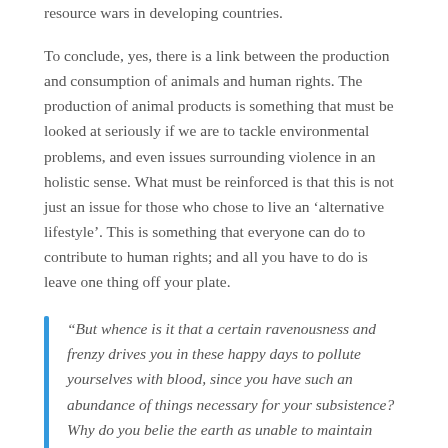resource wars in developing countries.
To conclude, yes, there is a link between the production and consumption of animals and human rights. The production of animal products is something that must be looked at seriously if we are to tackle environmental problems, and even issues surrounding violence in an holistic sense. What must be reinforced is that this is not just an issue for those who chose to live an ‘alternative lifestyle’. This is something that everyone can do to contribute to human rights; and all you have to do is leave one thing off your plate.
“But whence is it that a certain ravenousness and frenzy drives you in these happy days to pollute yourselves with blood, since you have such an abundance of things necessary for your subsistence? Why do you belie the earth as unable to maintain you?”